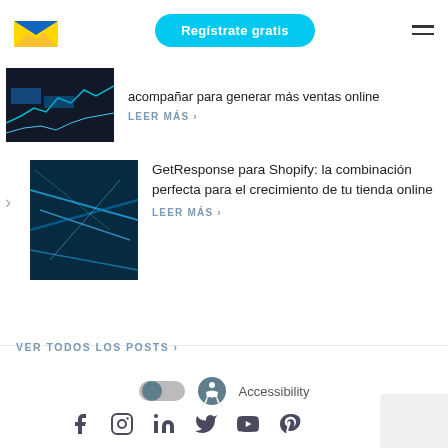[Figure (logo): GetResponse logo: envelope icon with blue/yellow colors]
Regístrate gratis
[Figure (other): Hamburger menu icon (three horizontal lines)]
[Figure (photo): Dark dashboard analytics screenshot]
acompañar para generar más ventas online
LEER MÁS ›
[Figure (photo): Blue light streaks / speed motion abstract photo]
GetResponse para Shopify: la combinación perfecta para el crecimiento de tu tienda online
LEER MÁS ›
VER TODOS LOS POSTS ›
[Figure (other): Accessibility toggle and icon]
[Figure (other): Social media icons: Facebook, Instagram, LinkedIn, Twitter, YouTube, Pinterest]